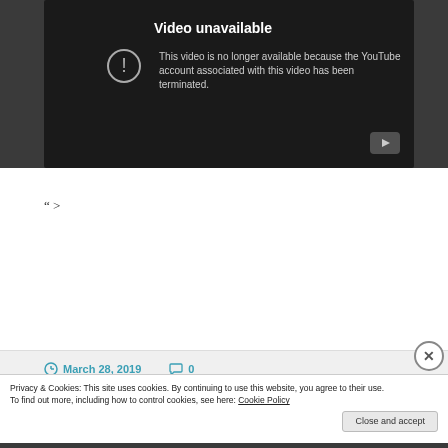[Figure (screenshot): YouTube video unavailable error screen with dark background, exclamation icon, text 'Video unavailable - This video is no longer available because the YouTube account associated with this video has been terminated.' and a YouTube play button icon in bottom right.]
">
March 28, 2019   0
Advertisements
Privacy & Cookies: This site uses cookies. By continuing to use this website, you agree to their use.
To find out more, including how to control cookies, see here: Cookie Policy
Close and accept